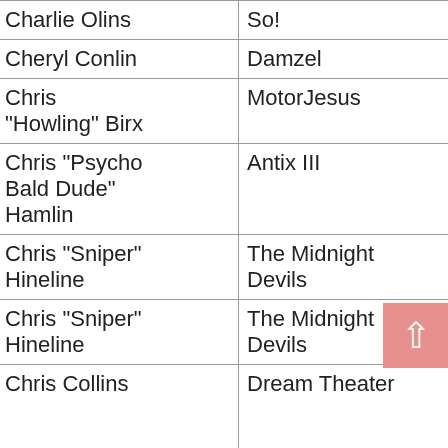| Name | Band/Album | Link |
| --- | --- | --- |
| Charlie Olins | So! | Bra |
| Cheryl Conlin | Damzel | Ca |
| Chris "Howling" Birx | MotorJesus | He |
| Chris "Psycho Bald Dude" Hamlin | Antix III | Ha |
| Chris "Sniper" Hineline | The Midnight Devils | Ne |
| Chris "Sniper" Hineline | The Midnight Devils | So |
| Chris Collins | Dream Theater | Off Ma 198 |
| Chris Collins | Snowball | Sno |
| Chris Flint | Bloody Heels | Su |
| Chris Flint | Bloody Heels | Thr |
| Chris Gunslinger | Kill Shott | Kill |
| Chris Howling | MotorJesus | Ra |